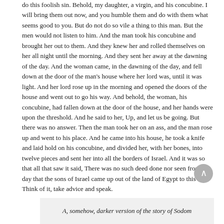do this foolish sin. Behold, my daughter, a virgin, and his concubine. I will bring them out now, and you humble them and do with them what seems good to you. But do not do so vile a thing to this man. But the men would not listen to him. And the man took his concubine and brought her out to them. And they knew her and rolled themselves on her all night until the morning. And they sent her away at the dawning of the day. And the woman came, in the dawning of the day, and fell down at the door of the man's house where her lord was, until it was light. And her lord rose up in the morning and opened the doors of the house and went out to go his way. And behold, the woman, his concubine, had fallen down at the door of the house, and her hands were upon the threshold. And he said to her, Up, and let us be going. But there was no answer. Then the man took her on an ass, and the man rose up and went to his place. And he came into his house, he took a knife and laid hold on his concubine, and divided her, with her bones, into twelve pieces and sent her into all the borders of Israel. And it was so that all that saw it said, There was no such deed done nor seen from the day that the sons of Israel came up out of the land of Egypt to this day. Think of it, take advice and speak.
A, somehow, darker version of the story of Sodom